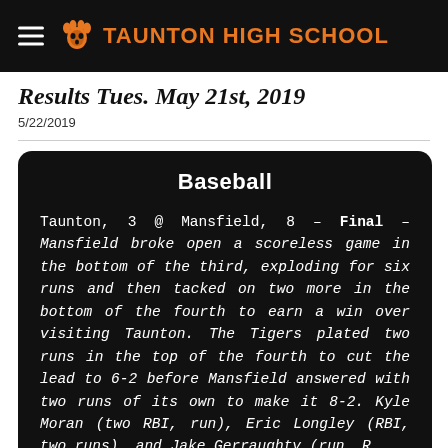TAUNTON HIGH SCHOOL
Results Tues. May 21st, 2019
5/22/2019
Baseball
Taunton, 3 @ Mansfield, 8 – Final – Mansfield broke open a scoreless game in the bottom of the third, exploding for six runs and then tacked on two more in the bottom of the fourth to earn a win over visiting Taunton. The Tigers plated two runs in the top of the fourth to cut the lead to 6-2 before Mansfield answered with two runs of its own to make it 8-2. Kyle Moran (two RBI, run), Eric Longley (RBI, two runs), and Jake Gerraughty (run, RBI) each had two hits to pace the Hornets' offense. Joe Carney earned the win on the mound, allowing two